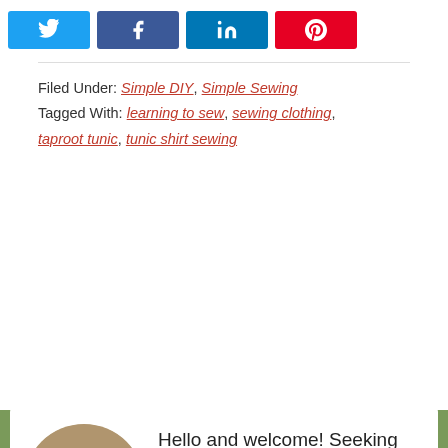[Figure (infographic): Social share buttons row: Twitter (blue), Facebook (blue), LinkedIn (blue), Pinterest (red)]
Filed Under: Simple DIY, Simple Sewing
Tagged With: learning to sew, sewing clothing, taproot tunic, tunic shirt sewing
[Figure (photo): Circular profile photo of a woman with curly brown hair, smiling]
Hello and welcome! Seeking Joyful Simplicity is about creating space in your life for the things that matter most - abundant health, joy, and contentment. With a holistic approach focused on self-reflection, simple foods, and herbal support, I offer a practical approach to living with purpose and